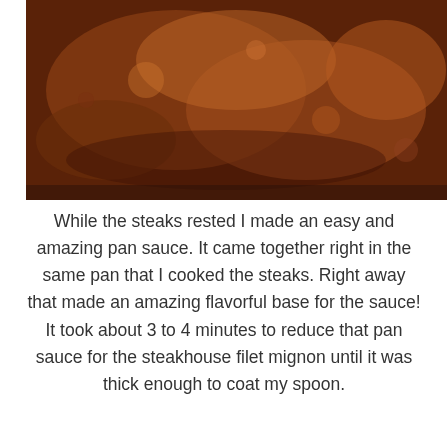[Figure (photo): Close-up photo of a dark, sizzling pan sauce cooking in a skillet, with caramelized meat drippings visible.]
While the steaks rested I made an easy and amazing pan sauce. It came together right in the same pan that I cooked the steaks. Right away that made an amazing flavorful base for the sauce! It took about 3 to 4 minutes to reduce that pan sauce for the steakhouse filet mignon until it was thick enough to coat my spoon.
[Figure (photo): Partially visible second food photo obscured by cookie consent banner.]
Privacy & Cookies: This site uses cookies. By continuing to use this website, you agree to their use.
To find out more, including how to control cookies, see here: Cookie Policy
Close and accept